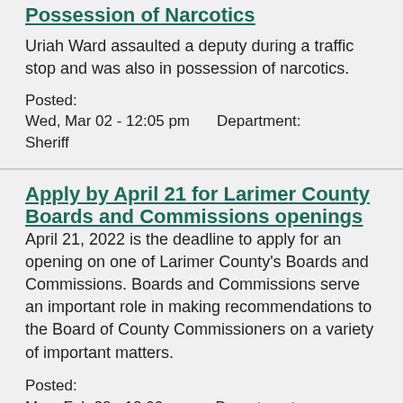Possession of Narcotics
Uriah Ward assaulted a deputy during a traffic stop and was also in possession of narcotics.
Posted: Wed, Mar 02 - 12:05 pm
Department: Sheriff
Apply by April 21 for Larimer County Boards and Commissions openings
April 21, 2022 is the deadline to apply for an opening on one of Larimer County's Boards and Commissions. Boards and Commissions serve an important role in making recommendations to the Board of County Commissioners on a variety of important matters.
Posted: Mon, Feb 28 - 12:00 pm
Department: BOCC